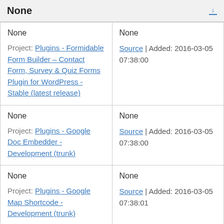None
| None

Project: Plugins - Formidable Form Builder – Contact Form, Survey & Quiz Forms Plugin for WordPress - Stable (latest release) | None

Source | Added: 2016-03-05 07:38:00 |
| None

Project: Plugins - Google Doc Embedder - Development (trunk) | None

Source | Added: 2016-03-05 07:38:00 |
| None

Project: Plugins - Google Map Shortcode - Development (trunk) | None

Source | Added: 2016-03-05 07:38:01 |